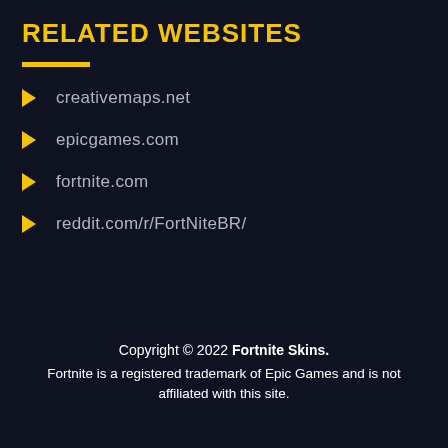RELATED WEBSITES
creativemaps.net
epicgames.com
fortnite.com
reddit.com/r/FortNiteBR/
Copyright © 2022 Fortnite Skins. Fortnite is a registered trademark of Epic Games and is not affiliated with this site.